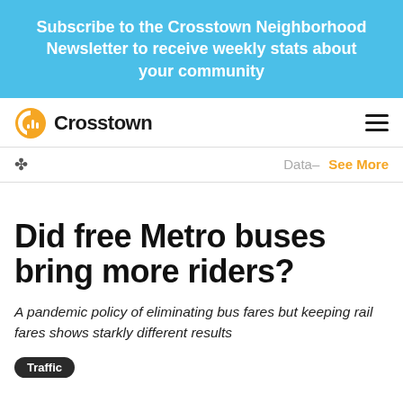Subscribe to the Crosstown Neighborhood Newsletter to receive weekly stats about your community
[Figure (logo): Crosstown logo with orange circular icon and bold black text]
Data–   See More
Did free Metro buses bring more riders?
A pandemic policy of eliminating bus fares but keeping rail fares shows starkly different results
Traffic